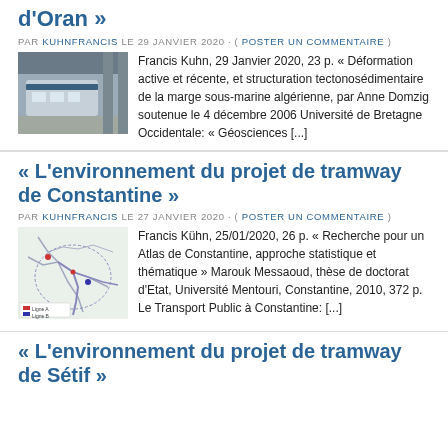d'Oran »
PAR KUHNFRANCIS LE 29 JANVIER 2020 · ( POSTER UN COMMENTAIRE )
Francis Kuhn, 29 Janvier 2020, 23 p. « Déformation active et récente, et structuration tectonosédimentaire de la marge sous-marine algérienne, par Anne Domzig soutenue le 4 décembre 2006 Université de Bretagne Occidentale: « Géosciences [...]
« L'environnement du projet de tramway de Constantine »
PAR KUHNFRANCIS LE 27 JANVIER 2020 · ( POSTER UN COMMENTAIRE )
Francis Kühn, 25/01/2020, 26 p. « Recherche pour un Atlas de Constantine, approche statistique et thématique » Marouk Messaoud, thèse de doctorat d'Etat, Université Mentouri, Constantine, 2010, 372 p. Le Transport Public à Constantine: [...]
« L'environnement du projet de tramway de Sétif »